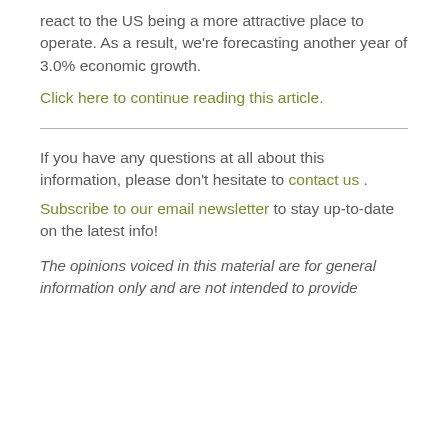react to the US being a more attractive place to operate. As a result, we're forecasting another year of 3.0% economic growth.
Click here to continue reading this article.
If you have any questions at all about this information, please don't hesitate to contact us .
Subscribe to our email newsletter to stay up-to-date on the latest info!
The opinions voiced in this material are for general information only and are not intended to provide